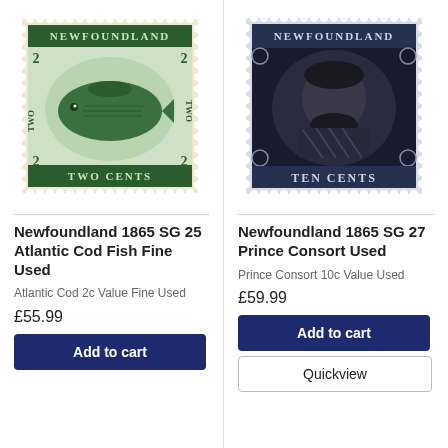[Figure (illustration): Newfoundland 1865 stamp showing Atlantic Cod Fish, green color, perforated edges, '2 TWO CENTS' denomination, NEWFOUNDLAND text at top]
Newfoundland 1865 SG 25 Atlantic Cod Fish Fine Used
Atlantic Cod 2c Value Fine Used
£55.99
Add to cart
[Figure (illustration): Newfoundland 1865 stamp showing Prince Consort portrait, dark/black color, perforated edges, 'TEN CENTS' denomination, NEWFOUNDLAND text at top]
Newfoundland 1865 SG 27 Prince Consort Used
Prince Consort 10c Value Used
£59.99
Add to cart
Quickview